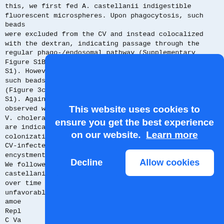this, we first fed A. castellanii indigestible fluorescent microspheres. Upon phagocytosis, such beads were excluded from the CV and instead colocalized with the dextran, indicating passage through the regular phago-/endosomal pathway (Supplementary Figure S1B and quantified in Supplementary Table S1). However, upon coinoculation with V. cholerae, such beads became readily detectable within the CV (Figure 3c and quantified in Supplementary Table S1). Again, the same phenomenon was never observed when E. coli was used in place of V. cholerae (Supplementary Table S1). These data are indicative of a V. cholerae-promoted CV colonization process.
CV-infected amoebae maintain the pathogen upon encystment followed by CV destruction and cyst lysis
We followed the fate of the CV-infected A. castellanii over time (Supplementary Movie S4–S6). Under unfavorable conditions, the metabolically active amoe...
Repl...
C Va...
901 ...
Figu...
Time...
moni...
cast...
in t...
and ...
the green channel (labeled V. cholerae). The merged ti...
This website uses cookies to ensure you get the best experience on our website. Learn more
Decline | Allow cookies